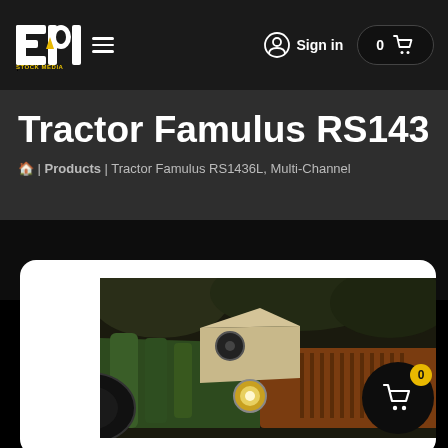Epic Stock Media — Navigation bar with logo, hamburger menu, Sign in, and cart button showing 0
Tractor Famulus RS1436L, Mu
🏠 | Products | Tractor Famulus RS1436L, Multi-Channel
[Figure (photo): Close-up photo of a vintage tractor, showing green engine parts, a headlight, and a rusty orange/red radiator grille, set against a dark background.]
[Figure (screenshot): Floating cart button overlay showing badge with 0 and shopping cart icon on dark circular background]